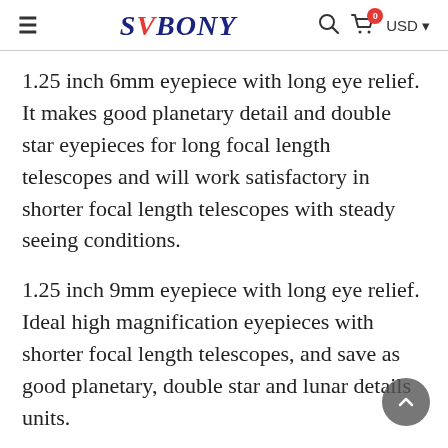SVBONY — search, cart (0), USD
1.25 inch 6mm eyepiece with long eye relief. It makes good planetary detail and double star eyepieces for long focal length telescopes and will work satisfactory in shorter focal length telescopes with steady seeing conditions.
1.25 inch 9mm eyepiece with long eye relief. Ideal high magnification eyepieces with shorter focal length telescopes, and save as good planetary, double star and lunar details units.
1.25 inch 15mm eyepiece with long eye relief. A great mid-range magnification for all focal length and will help resolve globular clusters, galaxy details and sport